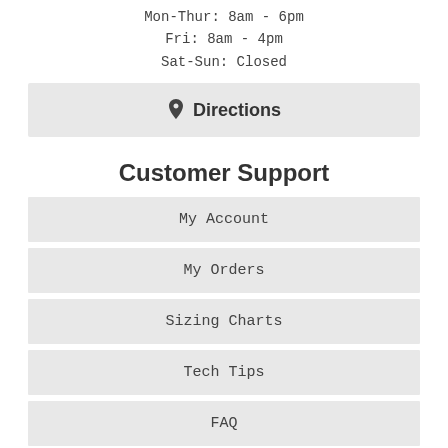Mon-Thur: 8am - 6pm
Fri: 8am - 4pm
Sat-Sun: Closed
Directions
Customer Support
My Account
My Orders
Sizing Charts
Tech Tips
FAQ
Help
Shipping